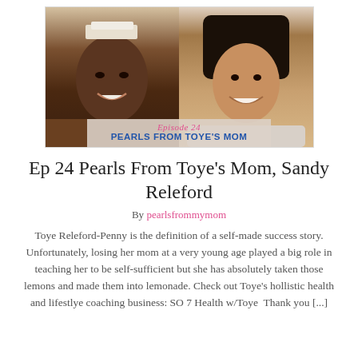[Figure (photo): Podcast episode cover image showing two women side by side with overlay text reading 'Episode 24 PEARLS FROM TOYE'S MOM']
Ep 24 Pearls From Toye’s Mom, Sandy Releford
By pearlsfrommymom
Toye Releford-Penny is the definition of a self-made success story. Unfortunately, losing her mom at a very young age played a big role in teaching her to be self-sufficient but she has absolutely taken those lemons and made them into lemonade. Check out Toye’s hollistic health and lifestlye coaching business: SO 7 Health w/Toye  Thank you [...]